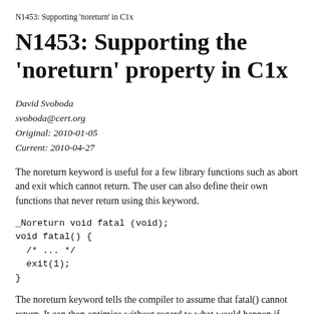N1453: Supporting 'noreturn' in C1x
N1453: Supporting the 'noreturn' property in C1x
David Svoboda
svoboda@cert.org
Original: 2010-01-05
Current: 2010-04-27
The noreturn keyword is useful for a few library functions such as abort and exit which cannot return. The user can also define their own functions that never return using this keyword.
_Noreturn void fatal (void);
void fatal() {
  /* ... */
  exit(1);
}
The noreturn keyword tells the compiler to assume that fatal() cannot return. It can then optimize without regard to what would happen if fatal were called again. This also reliably lets compilers